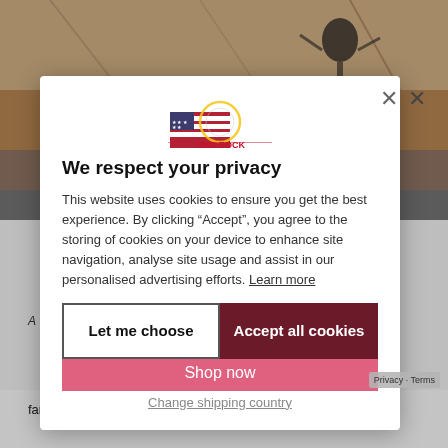[Figure (screenshot): Background webpage showing a climbing/outdoor image and text about a family run business in the Peak District]
[Figure (logo): 3RD ROCK logo with American flag and circular graphic]
3RD ROCK ships to United States
See shipping options for United States
Shop now
Change shipping country
We respect your privacy
This website uses cookies to ensure you get the best experience. By clicking “Accept”, you agree to the storing of cookies on your device to enhance site navigation, analyse site usage and assist in our personalised advertising efforts. Learn more
Let me choose
Accept all cookies
family run business based in the Peak District. Rec